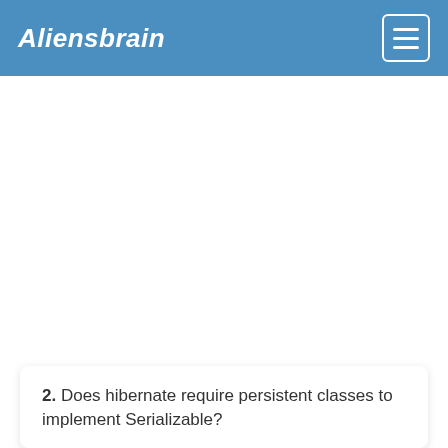Aliensbrain
2. Does hibernate require persistent classes to implement Serializable?